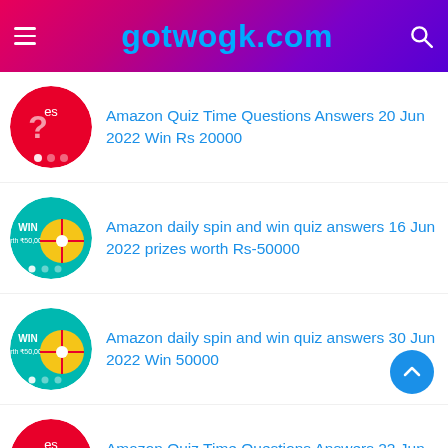gotwogk.com
Amazon Quiz Time Questions Answers 20 Jun 2022 Win Rs 20000
Amazon daily spin and win quiz answers 16 Jun 2022 prizes worth Rs-50000
Amazon daily spin and win quiz answers 30 Jun 2022 Win 50000
Amazon Quiz Time Questions Answers 22 Jun 2022 Win Rs 5000
Amazon Quiz Time Questions Answers 17